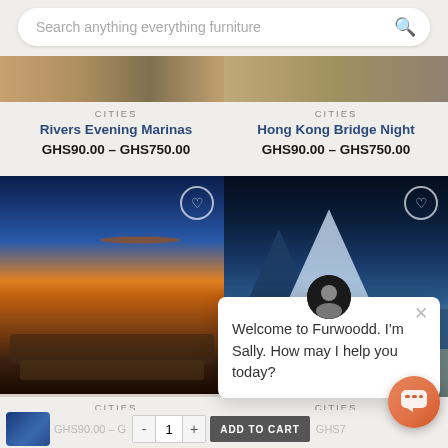[Figure (screenshot): E-commerce furniture/art website screenshot showing search bar, product listings, and chat popup]
Search anything everything furniture
CITIES
Rivers Evening Marinas
GHS90.00 – GHS750.00
CITIES
Hong Kong Bridge Night
GHS90.00 – GHS750.00
[Figure (photo): Evening outdoor patio with sunloungers and umbrella, luxury residence]
[Figure (photo): Norway Lofoten snowy village waterfront scene]
CITIES
Evening Mansion Sunlounger
CITIES
Norway Lofoten Wi
Houses Mountain
GHS90.00 – G
GHS7
Welcome to Furwoodd. I'm Sally. How may I help you today?
ADD TO CART
1